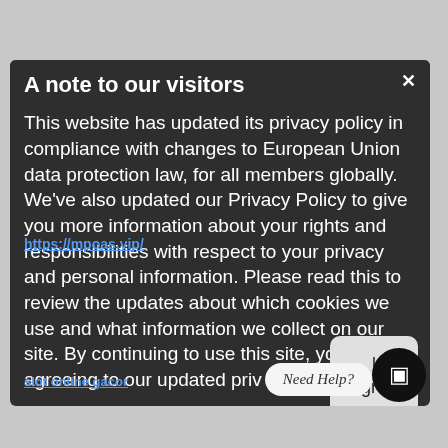[Figure (screenshot): Website privacy policy consent modal dialog on a gray background. A dark gray rounded modal with title 'A note to our visitors', close button (×) top right, body text about updated privacy policy for EU compliance, an 'I agree' button on the right side, overlapping spam/watermark links in blue, a 'Need Help?' bubble and chat icon at the bottom right.]
A note to our visitors
This website has updated its privacy policy in compliance with changes to European Union data protection law, for all members globally. We've also updated our Privacy Policy to give you more information about your rights and responsibilities with respect to your privacy and personal information. Please read this to review the updates about which cookies we use and what information we collect on our site. By continuing to use this site, you are agreeing to our updated priv…